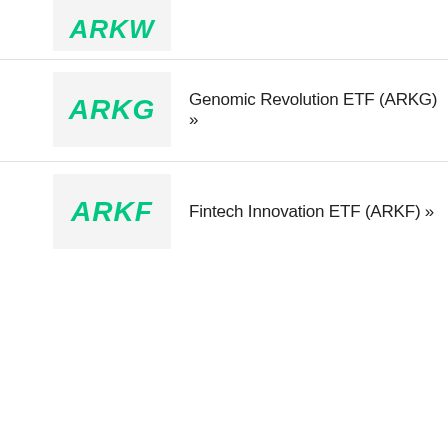[Figure (logo): ARKW ETF logo - partial, cropped at top]
Genomic Revolution ETF (ARKG) »
[Figure (logo): ARKG ETF logo - green bold italic text on light gray background]
Fintech Innovation ETF (ARKF) »
[Figure (logo): ARKF ETF logo - green bold italic text on light gray background]